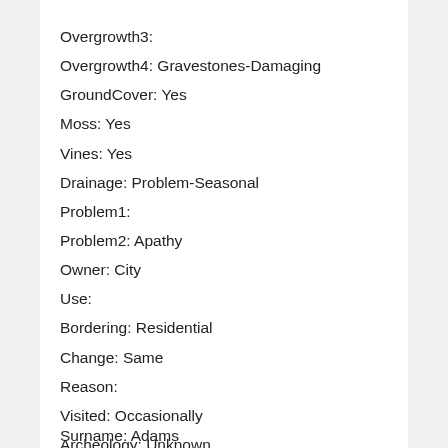Overgrowth3:
Overgrowth4: Gravestones-Damaging
GroundCover: Yes
Moss: Yes
Vines: Yes
Drainage: Problem-Seasonal
Problem1:
Problem2: Apathy
Owner: City
Use:
Bordering: Residential
Change: Same
Reason:
Visited: Occasionally
Archeology: Unknown
Habitat: Yes
Surname: Adams